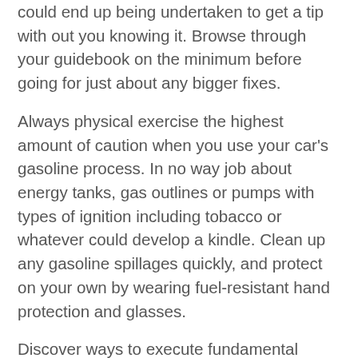could end up being undertaken to get a tip with out you knowing it. Browse through your guidebook on the minimum before going for just about any bigger fixes.
Always physical exercise the highest amount of caution when you use your car's gasoline process. In no way job about energy tanks, gas outlines or pumps with types of ignition including tobacco or whatever could develop a kindle. Clean up any gasoline spillages quickly, and protect on your own by wearing fuel-resistant hand protection and glasses.
Discover ways to execute fundamental upkeep in your automobile. It is extremely easy to conduct a tune up or make positive changes to gas so there really is no reason to create your automobile to a vehicle repair shop to obtain these items completed. Alternatively, just see lessons on the internet to discover what you